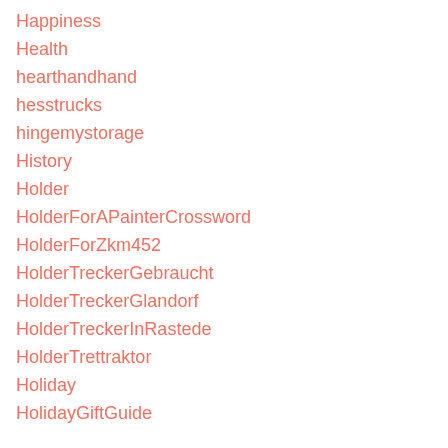Happiness
Health
hearthandhand
hesstrucks
hingemystorage
History
Holder
HolderForAPainterCrossword
HolderForZkm452
HolderTreckerGebraucht
HolderTreckerGlandorf
HolderTreckerInRastede
HolderTrettraktor
Holiday
HolidayGiftGuide